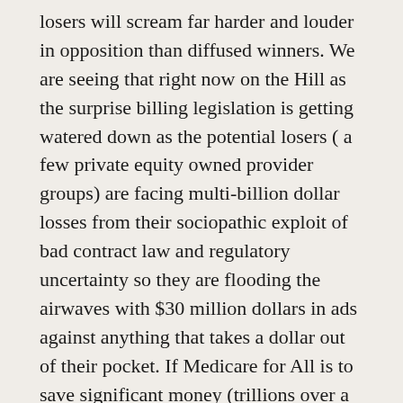losers will scream far harder and louder in opposition than diffused winners. We are seeing that right now on the Hill as the surprise billing legislation is getting watered down as the potential losers ( a few private equity owned provider groups) are facing multi-billion dollar losses from their sociopathic exploit of bad contract law and regulatory uncertainty so they are flooding the airwaves with $30 million dollars in ads against anything that takes a dollar out of their pocket. If Medicare for All is to save significant money (trillions over a decade is significant) it will be by reducing payment rates to hospitals, doctors and pharmacies. Doctors are the most trusted professions,